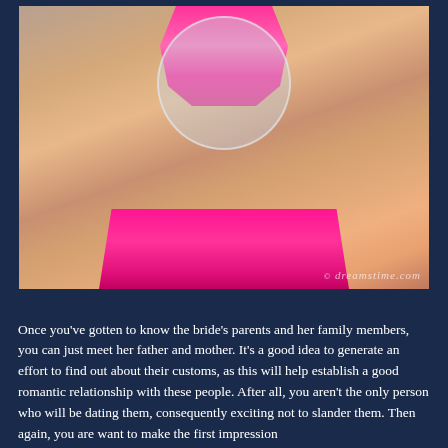[Figure (photo): A woman in a pink bikini taking a selfie with a camera, with a circular watermark overlay. Watermark reads 'dreamstime.com'.]
Once you've gotten to know the bride's parents and her family members, you can just meet her father and mother. It's a good idea to generate an effort to find out about their customs, as this will help establish a good romantic relationship with these people. After all, you aren't the only person who will be dating them, consequently exciting not to slander them. Then again, you are want to make the first impression